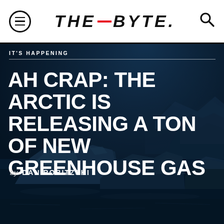THE_BYTE.
IT'S HAPPENING
AH CRAP: THE ARCTIC IS RELEASING A TON OF NEW GREENHOUSE GAS
by DAN ROBITZSKI
[Figure (photo): Dark blue-toned aerial/ground-level photograph of Arctic icebergs floating in dark water, with a deep navy blue color grade applied.]